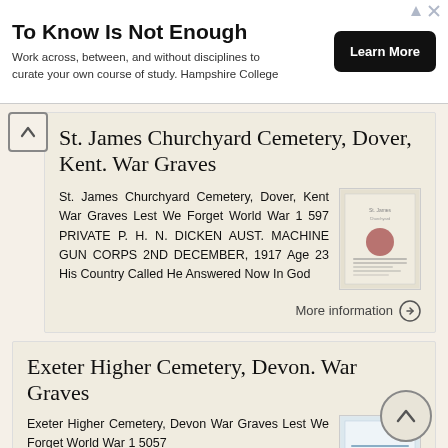[Figure (infographic): Advertisement banner: 'To Know Is Not Enough' headline, subtitle 'Work across, between, and without disciplines to curate your own course of study. Hampshire College', and a black 'Learn More' button]
St. James Churchyard Cemetery, Dover, Kent. War Graves
St. James Churchyard Cemetery, Dover, Kent War Graves Lest We Forget World War 1 597 PRIVATE P. H. N. DICKEN AUST. MACHINE GUN CORPS 2ND DECEMBER, 1917 Age 23 His Country Called He Answered Now In God
More information →
Exeter Higher Cemetery, Devon. War Graves
Exeter Higher Cemetery, Devon War Graves Lest We Forget World War 1 5057